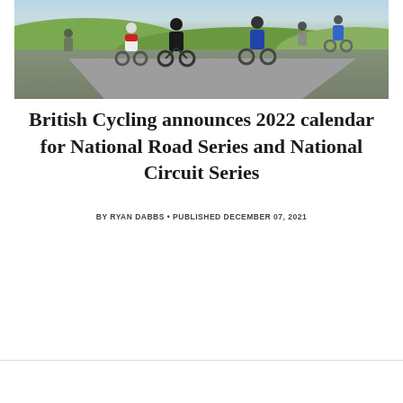[Figure (photo): Cyclists racing on a road, several riders visible in cycling gear, green countryside in background]
British Cycling announces 2022 calendar for National Road Series and National Circuit Series
BY RYAN DABBS • PUBLISHED DECEMBER 07, 2021